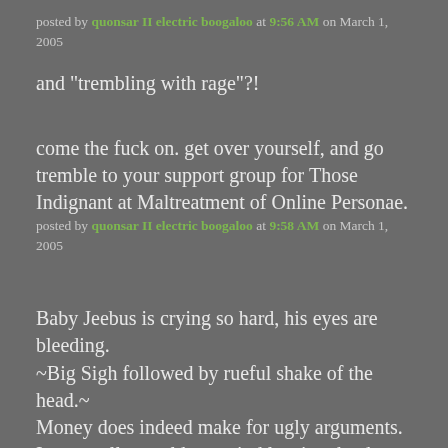posted by quonsar II electric boogaloo at 9:56 AM on March 1, 2005
and "trembling with rage"?!
come the fuck on. get over yourself, and go tremble to your support group for Those Indignant at Maltreatment of Online Personae.
posted by quonsar II electric boogaloo at 9:58 AM on March 1, 2005
Baby Jeebus is crying so hard, his eyes are bleeding.
~Big Sigh followed by rueful shake of the head.~
Money does indeed make for ugly arguments. I personally would not mind leaving the door open a crack to future solicitation for our dear comrades, but not when it leads to this. I haven't felt so bad about a Mefi blow-up since....I don't